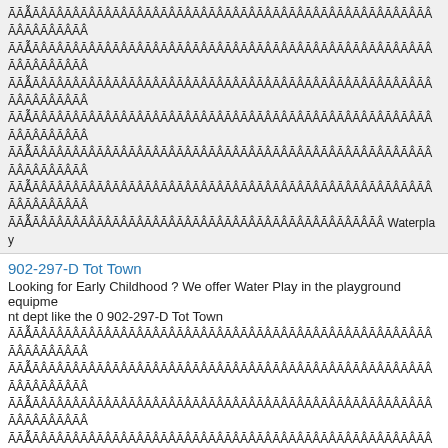ÃĀẪĀÂĀÂĀÂĀÂĀÂĀÂĀÂĀÂĀÂĀÂĀÂĀÂĀÂĀÂĀÂĀÂĀÂĀÂĀÂĀÂĀÂĀÂĀÂĀÂĀÂĀÂĀÂĀÂĀÂĀÂl Waterplay
902-297-D Tot Town
Looking for Early Childhood ? We offer Water Play in the playground equipment dept like the 0 902-297-D Tot Town
ÃĀẪĀÂĀÂĀÂĀÂĀÂĀÂĀÂĀÂĀÂĀÂĀÂĀÂĀÂĀÂĀÂĀÂĀÂĀÂĀÂĀÂĀÂĀÂĀÂĀÂĀÂĀÂĀÂĀÂĀÂĀÂl Waterplay With Drain
902-806 Tot Town Sand/Water Table
Looking for Early Childhood ? We offer Water Play in the playground equipment dept like the 0 902-806 Tot Town
ÃĀẪĀÂĀÂĀÂĀÂĀÂĀÂĀÂĀÂĀÂĀÂĀÂĀÂĀÂĀÂĀÂĀÂĀÂĀÂĀÂĀÂĀÂĀÂĀÂĀÂĀÂĀÂĀÂĀÂĀÂĀÂl